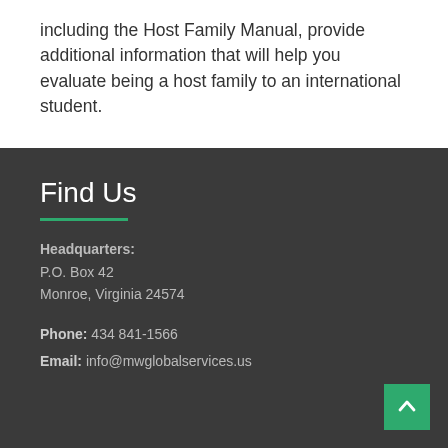including the Host Family Manual, provide additional information that will help you evaluate being a host family to an international student.
Find Us
Headquarters:
P.O. Box 42
Monroe, Virginia 24574
Phone: 434 841-1566
Email: info@mwglobalservices.us